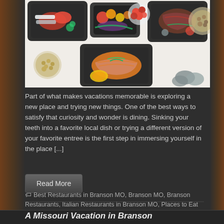[Figure (photo): Overhead view of multiple black takeout/meal prep containers with various grilled meats, vegetables, tomatoes, mushrooms, chickpeas, and other foods arranged on a white surface]
Part of what makes vacations memorable is exploring a new place and trying new things. One of the best ways to satisfy that curiosity and wonder is dining. Sinking your teeth into a favorite local dish or trying a different version of your favorite entree is the first step in immersing yourself in the place [...]
Read More
Best Restaurants in Branson MO, Branson MO, Branson Restaurants, Italian Restaurants in Branson MO, Places to Eat in Branson MO, Restaurants in Branson MO
A Missouri Vacation in Branson